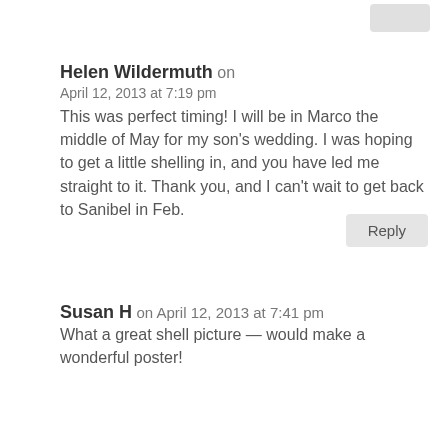Helen Wildermuth on April 12, 2013 at 7:19 pm This was perfect timing! I will be in Marco the middle of May for my son's wedding. I was hoping to get a little shelling in, and you have led me straight to it. Thank you, and I can't wait to get back to Sanibel in Feb.
Reply
Susan H on April 12, 2013 at 7:41 pm What a great shell picture — would make a wonderful poster!